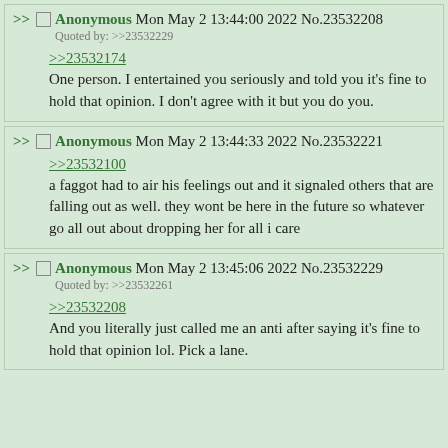Anonymous Mon May 2 13:44:00 2022 No.23532208
Quoted by: >>23532229
>>23532174
One person. I entertained you seriously and told you it's fine to hold that opinion. I don't agree with it but you do you.
Anonymous Mon May 2 13:44:33 2022 No.23532221
>>23532100
a faggot had to air his feelings out and it signaled others that are falling out as well. they wont be here in the future so whatever go all out about dropping her for all i care
Anonymous Mon May 2 13:45:06 2022 No.23532229
Quoted by: >>23532261
>>23532208
And you literally just called me an anti after saying it's fine to hold that opinion lol. Pick a lane.